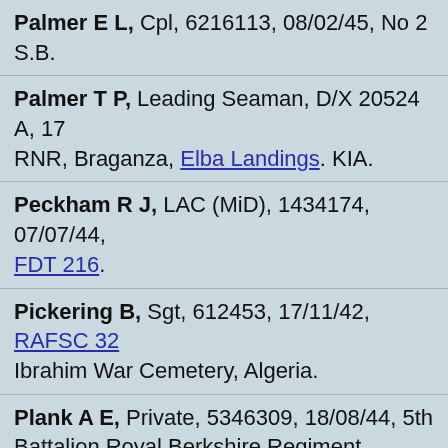Palmer E L, Cpl, 6216113, 08/02/45, No 2 S.Ba...
Palmer T P, Leading Seaman, D/X 20524 A, 17... RNR, Braganza, Elba Landings. KIA.
Peckham R J, LAC (MiD), 1434174, 07/07/44, ... FDT 216.
Pickering B, Sgt, 612453, 17/11/42, RAFSC 32... Ibrahim War Cemetery, Algeria.
Plank A E, Private, 5346309, 18/08/44, 5th Battalion Royal Berkshire Regiment, buried at D... Deliverende Cemetery.
Plank H H, C.S.M., PLY/X 3504, 02/11/44, 47 R.M. Commando, KIA Walcheren. Buried Burg...